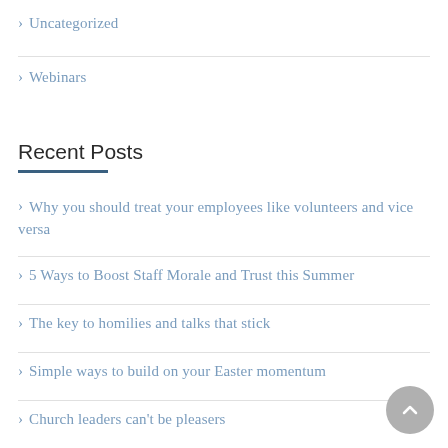> Uncategorized
> Webinars
Recent Posts
> Why you should treat your employees like volunteers and vice versa
> 5 Ways to Boost Staff Morale and Trust this Summer
> The key to homilies and talks that stick
> Simple ways to build on your Easter momentum
> Church leaders can’t be pleasers